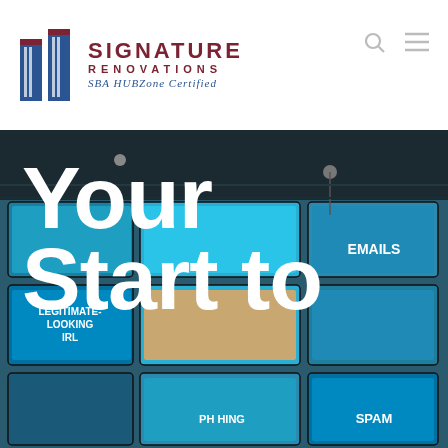[Figure (logo): Signature Renovations logo with blue building icon and text 'SIGNATURE RENOVATIONS SBA HUBZone Certified']
[Figure (photo): Background photo of a wall of digital display screens showing social media content, emails, spam labels. Large white bold text overlay reads 'Your Start to' with bottom cut off.]
Your Start to